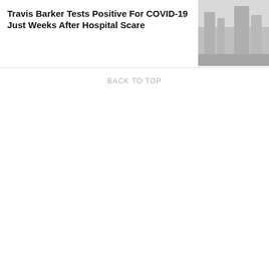[Figure (photo): Grayscale photo of a person or vehicle in an outdoor setting, partially visible on the right side of the article card]
Travis Barker Tests Positive For COVID-19 Just Weeks After Hospital Scare
BACK TO TOP